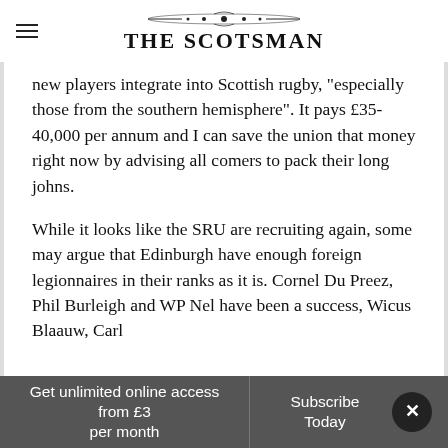THE SCOTSMAN
new players integrate into Scottish rugby, “especially those from the southern hemisphere”. It pays £35-40,000 per annum and I can save the union that money right now by advising all comers to pack their long johns.
While it looks like the SRU are recruiting again, some may argue that Edinburgh have enough foreign legionnaires in their ranks as it is. Cornel Du Preez, Phil Burleigh and WP Nel have been a success, Wicus Blaauw, Carl
Get unlimited online access from £3 per month
Subscribe Today